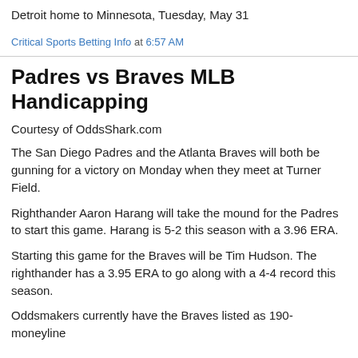Detroit home to Minnesota, Tuesday, May 31
Critical Sports Betting Info at 6:57 AM
Padres vs Braves MLB Handicapping
Courtesy of OddsShark.com
The San Diego Padres and the Atlanta Braves will both be gunning for a victory on Monday when they meet at Turner Field.
Righthander Aaron Harang will take the mound for the Padres to start this game. Harang is 5-2 this season with a 3.96 ERA.
Starting this game for the Braves will be Tim Hudson. The righthander has a 3.95 ERA to go along with a 4-4 record this season.
Oddsmakers currently have the Braves listed as 190-moneyline